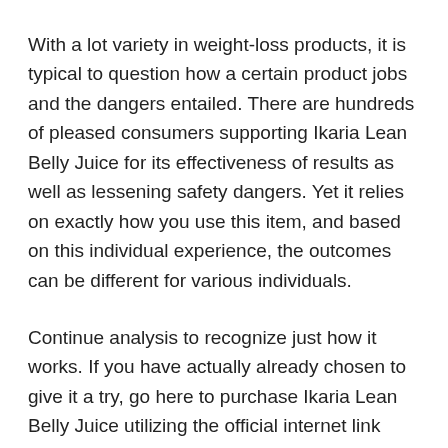With a lot variety in weight-loss products, it is typical to question how a certain product jobs and the dangers entailed. There are hundreds of pleased consumers supporting Ikaria Lean Belly Juice for its effectiveness of results as well as lessening safety dangers. Yet it relies on exactly how you use this item, and based on this individual experience, the outcomes can be different for various individuals.
Continue analysis to recognize just how it works. If you have actually already chosen to give it a try, go here to purchase Ikaria Lean Belly Juice utilizing the official internet link now.